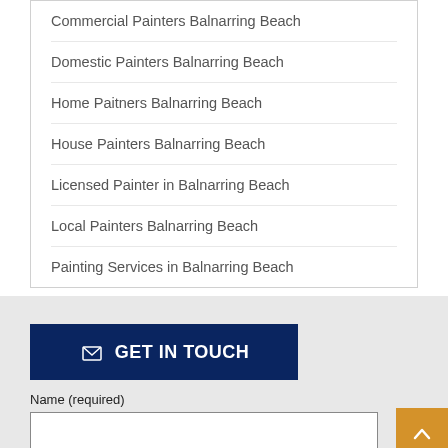Commercial Painters Balnarring Beach
Domestic Painters Balnarring Beach
Home Paitners Balnarring Beach
House Painters Balnarring Beach
Licensed Painter in Balnarring Beach
Local Painters Balnarring Beach
Painting Services in Balnarring Beach
GET IN TOUCH
Name (required)
Email (required)